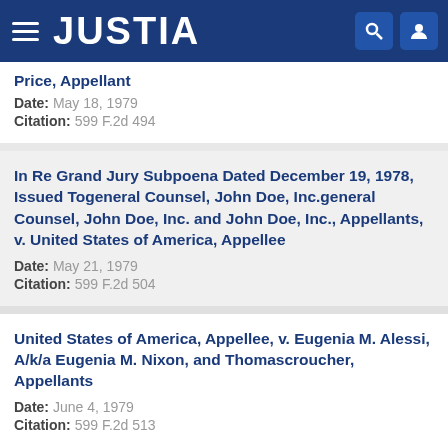JUSTIA
Price, Appellant
Date: May 18, 1979
Citation: 599 F.2d 494
In Re Grand Jury Subpoena Dated December 19, 1978, Issued Togeneral Counsel, John Doe, Inc.general Counsel, John Doe, Inc. and John Doe, Inc., Appellants, v. United States of America, Appellee
Date: May 21, 1979
Citation: 599 F.2d 504
United States of America, Appellee, v. Eugenia M. Alessi, A/k/a Eugenia M. Nixon, and Thomascroucher, Appellants
Date: June 4, 1979
Citation: 599 F.2d 513